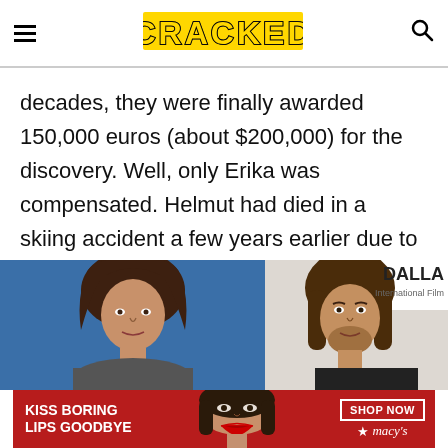CRACKED
decades, they were finally awarded 150,000 euros (about $200,000) for the discovery. Well, only Erika was compensated. Helmut had died in a skiing accident a few years earlier due to what people feared was a "mummy curse." Even though the only thing Otzi has in common with your regular "cursed" Egyptian mummies is that they're all dead.
[Figure (photo): Two side-by-side photos: left shows a woman with long brown hair against a blue background; right shows a man with long brown hair at an AT Dallas International Film event.]
[Figure (photo): Advertisement banner with red background showing 'KISS BORING LIPS GOODBYE' text, a woman's face with red lips, and a SHOP NOW button with Macy's logo.]